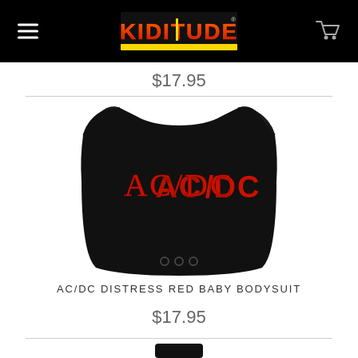KIDITUDE navigation bar with hamburger menu and cart icon
$17.95
[Figure (photo): Black baby bodysuit with AC/DC distressed red logo on the chest, featuring three snap buttons at the bottom]
AC/DC DISTRESS RED BABY BODYSUIT
$17.95